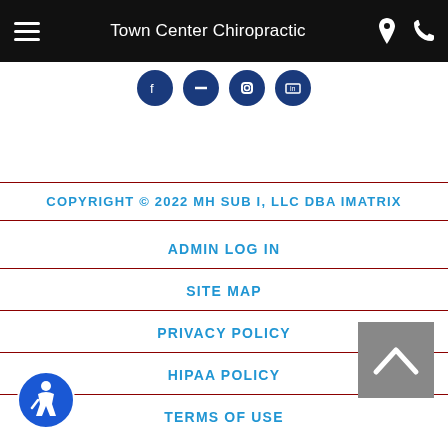Town Center Chiropractic
[Figure (infographic): Social media circular icon buttons (4 dark blue circles with icons)]
COPYRIGHT © 2022 MH SUB I, LLC DBA IMATRIX
ADMIN LOG IN
SITE MAP
PRIVACY POLICY
HIPAA POLICY
TERMS OF USE
[Figure (illustration): Back to top arrow button (grey square with white chevron up arrow)]
[Figure (logo): Accessibility icon - blue circle with wheelchair user symbol]